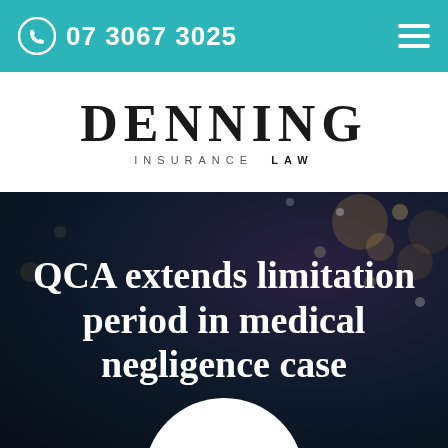07 3067 3025
[Figure (logo): Denning Insurance Law logo with large serif DENNING text and smaller spaced subtitle INSURANCE LAW]
QCA extends limitation period in medical negligence case